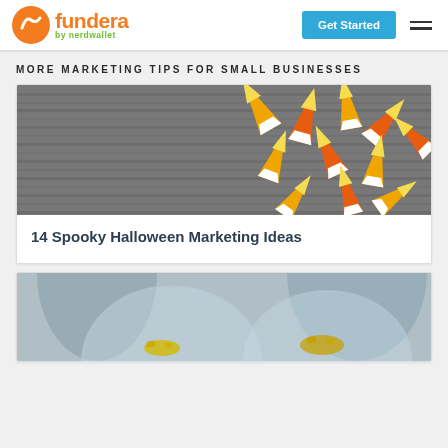fundera by nerdwallet — Get Started
MORE MARKETING TIPS FOR SMALL BUSINESSES
[Figure (photo): Candy corn scattered on a grey wood surface]
14 Spooky Halloween Marketing Ideas
[Figure (photo): Glass bowls on a table with people blurred in background]